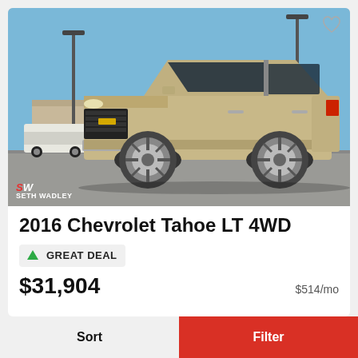[Figure (photo): 2016 Chevrolet Tahoe LT 4WD in champagne/gold color, photographed at a dealership lot on a sunny day. Seth Wadley dealership logo in bottom left corner. Heart/favorite icon in top right corner.]
2016 Chevrolet Tahoe LT 4WD
GREAT DEAL
$31,904
$514/mo
Sort
Filter